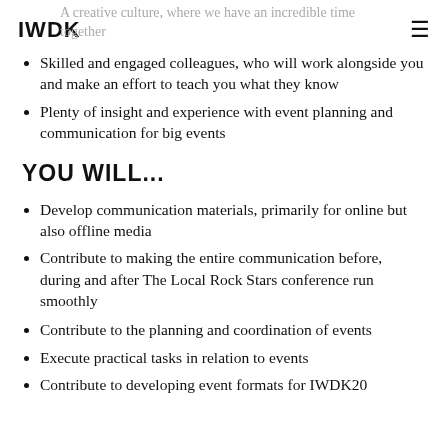IWDK  ☰
A creative culture, where we have an incredible time together
Skilled and engaged colleagues, who will work alongside you and make an effort to teach you what they know
Plenty of insight and experience with event planning and communication for big events
YOU WILL...
Develop communication materials, primarily for online but also offline media
Contribute to making the entire communication before, during and after The Local Rock Stars conference run smoothly
Contribute to the planning and coordination of events
Execute practical tasks in relation to events
Contribute to developing event formats for IWDK20